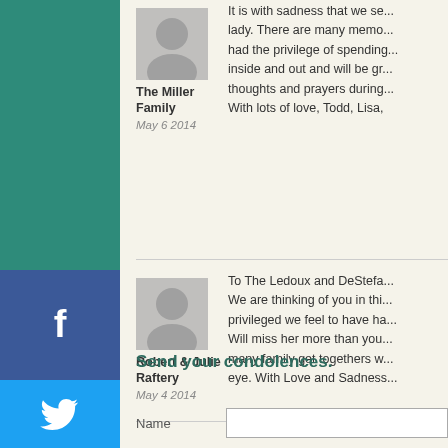It is with sadness that we se... lady. There are many memo... had the privilege of spending... inside and out and will be gr... thoughts and prayers during... With lots of love, Todd, Lisa,
The Miller Family
May 6 2014
To The Ledoux and DeStefа... We are thinking of you in thi... privileged we feel to have ha... Will miss her more than you... many family get togethers w... eye. With Love and Sadness...
Robert & Julie Raftery
May 4 2014
Send your condolences.
Name